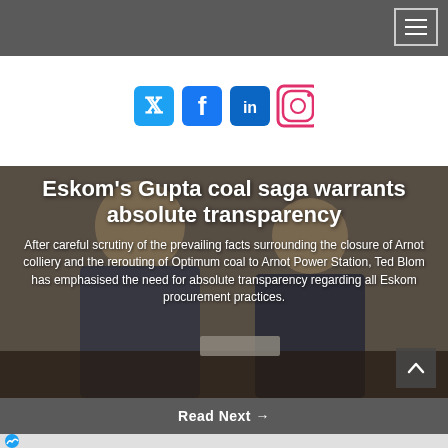[Figure (other): Gray top navigation bar with hamburger menu icon (three horizontal lines in a bordered box) in the top-right corner]
[Figure (other): Social media icons row: Twitter (bird, blue), Facebook (f, blue), LinkedIn (in, blue), Instagram (camera, red/orange gradient)]
Eskom’s Gupta coal saga warrants absolute transparency
After careful scrutiny of the prevailing facts surrounding the closure of Arnot colliery and the rerouting of Optimum coal to Arnot Power Station, Ted Blom has emphasised the need for absolute transparency regarding all Eskom procurement practices.
[Figure (photo): Two men in suits seated at a table, appearing to be in a meeting or press conference. Photo serves as background behind the article title and body text.]
Read Next →